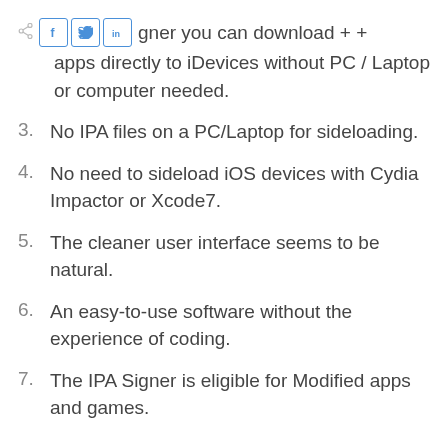gner you can download + + apps directly to iDevices without PC / Laptop or computer needed.
3. No IPA files on a PC/Laptop for sideloading.
4. No need to sideload iOS devices with Cydia Impactor or Xcode7.
5. The cleaner user interface seems to be natural.
6. An easy-to-use software without the experience of coding.
7. The IPA Signer is eligible for Modified apps and games.